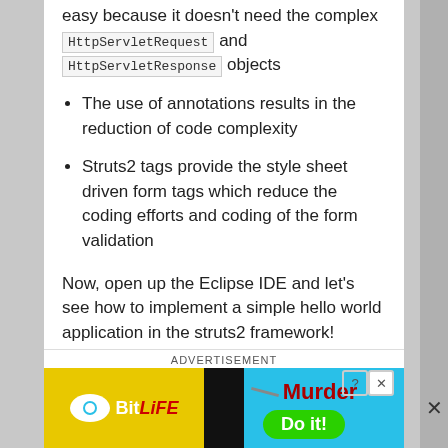easy because it doesn't need the complex HttpServletRequest and HttpServletResponse objects
The use of annotations results in the reduction of code complexity
Struts2 tags provide the style sheet driven form tags which reduce the coding efforts and coding of the form validation
Now, open up the Eclipse IDE and let's see how to implement a simple hello world application in the struts2 framework!
2. Struts JSP Example
ADVERTISEMENT